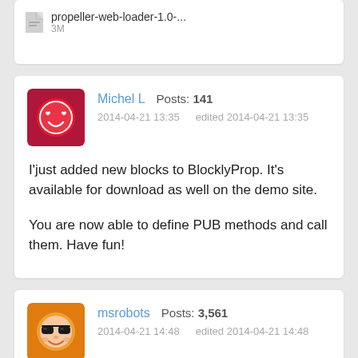[Figure (screenshot): Top card showing a file attachment: propeller-web-loader-1.0-... 3M]
Michel L   Posts: 141
2014-04-21 13:35   edited 2014-04-21 13:35
I'just added new blocks to BlocklyProp. It's available for download as well on the demo site.

You are now able to define PUB methods and call them. Have fun!
msrobots   Posts: 3,561
2014-04-21 14:48   edited 2014-04-21 14:48
Ha. this is cool. It works.

The .bat file still has the wrong .jar in it, but that was easy to